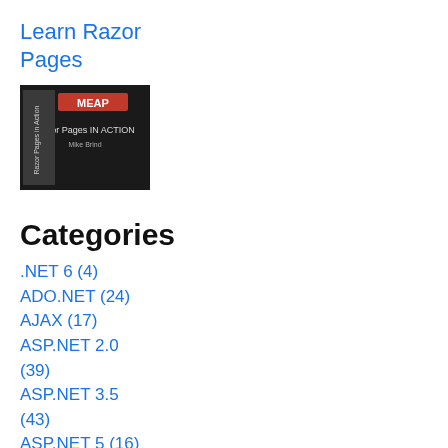Learn Razor Pages
[Figure (photo): Book cover: Razor Pages in Action (MEAP edition)]
Categories
.NET 6 (4)
ADO.NET (24)
AJAX (17)
ASP.NET 2.0 (39)
ASP.NET 3.5 (43)
ASP.NET 5 (16)
ASP.NET Core (63)
ASP.NET Identity (3)
ASP.NET MVC (89)
ASP.NET Web